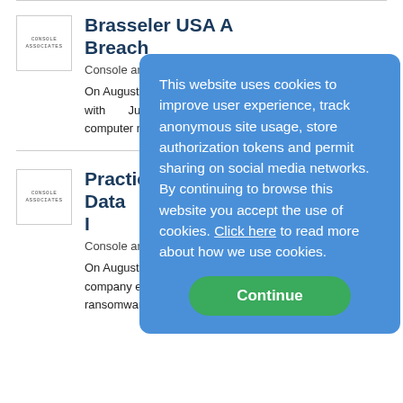[Figure (logo): Console and Associates logo placeholder box]
Brasseler USA Announces Data Breach
Console and Associates, P.C.
On August 17, 2022, Brasseler reported a data breach with Justice after an unauthorized company's computer networks the breach...more
[Figure (logo): Console and Associates logo placeholder box (second article)]
Practice Resources Announces Data Breach Impacting the Information of 924,138 Patients
Console and Associates, P.C.
On August 4, 2022, Practice Resources reported that the company experienced a data breach following a ransomware attack. According to PRL, the breach
This website uses cookies to improve user experience, track anonymous site usage, store authorization tokens and permit sharing on social media networks. By continuing to browse this website you accept the use of cookies. Click here to read more about how we use cookies.
Continue